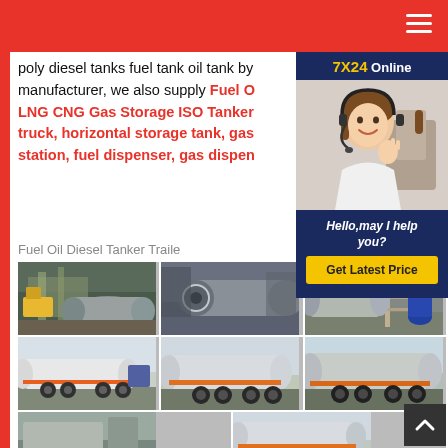Navigation header bar with hamburger menu
poly diesel tanks fuel tank oil tank by manufacturer, we also supply Fuel O LNG CNG Gas Storage ISO Tanker truck, horizontal storage tank, gas station, fuel dispenser, gas dispen
[Figure (photo): Customer service representative wearing headset with 7X24 Online badge and Hello, may I help you? Get Latest Price chat widget]
Fuel Oil Diesel Tanker Traile
[Figure (photo): Grid of 6 images showing fuel oil tanker trailers and storage tanks in factory and outdoor settings]